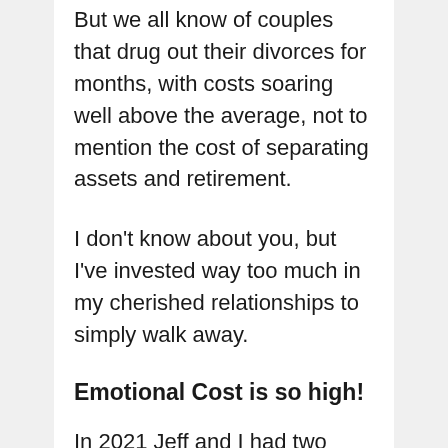But we all know of couples that drug out their divorces for months, with costs soaring well above the average, not to mention the cost of separating assets and retirement.
I don't know about you, but I've invested way too much in my cherished relationships to simply walk away.
Emotional Cost is so high!
In 2021 Jeff and I had two major grid lock issues.  Every night seemed to